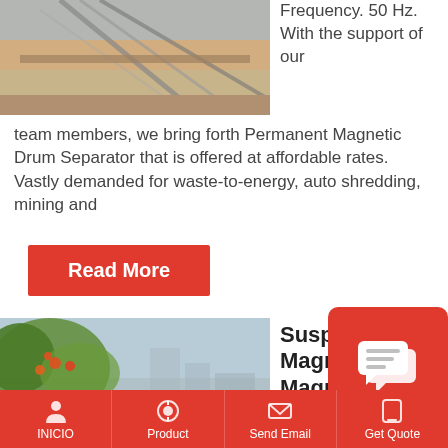[Figure (photo): Partial view of industrial equipment or structure with warm/grey tones]
Frequency. 50 Hz. With the support of our team members, we bring forth Permanent Magnetic Drum Separator that is offered at affordable rates. Vastly demanded for waste-to-energy, auto shredding, mining and
Read More
[Figure (photo): Large cylindrical magnetic drum separator industrial equipment outdoors with green foliage in background]
Suspension Magnet Magnetic Separator Bun
[Figure (other): Red chat/quote bubble icon overlay]
INICIO   Product   Send Email   Get Quote